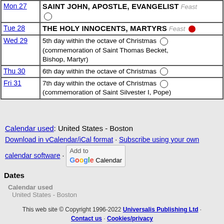| Day | Event |
| --- | --- |
| Mon 27 | SAINT JOHN, APOSTLE, EVANGELIST Feast ○ |
| Tue 28 | THE HOLY INNOCENTS, MARTYRS Feast ● |
| Wed 29 | 5th day within the octave of Christmas ○ (commemoration of Saint Thomas Becket, Bishop, Martyr) |
| Thu 30 | 6th day within the octave of Christmas ○ |
| Fri 31 | 7th day within the octave of Christmas ○ (commemoration of Saint Silvester I, Pope) |
Calendar used: United States - Boston
Download in vCalendar/iCal format · Subscribe using your own calendar software · [Add to Google Calendar]
Dates
Calendar used
United States - Boston
This web site © Copyright 1996-2022 Universalis Publishing Ltd · Contact us · Cookies/privacy